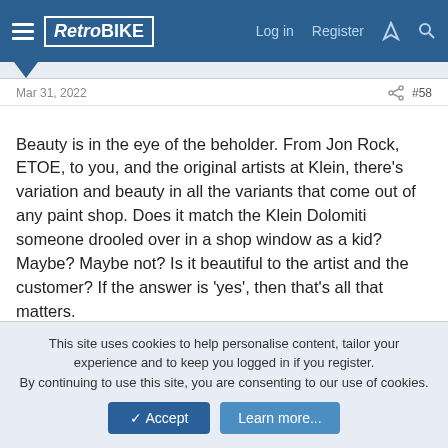RetroBIKE — Log in  Register
Mar 31, 2022  #58
Beauty is in the eye of the beholder. From Jon Rock, ETOE, to you, and the original artists at Klein, there's variation and beauty in all the variants that come out of any paint shop. Does it match the Klein Dolomiti someone drooled over in a shop window as a kid? Maybe? Maybe not? Is it beautiful to the artist and the customer? If the answer is 'yes', then that's all that matters.

Dolomiti is not my favorite Klein colorway by a long shot. But I'll submit that this frame is still beautiful.
kingoffootball, KOMRAID and Sonofamechanic
This site uses cookies to help personalise content, tailor your experience and to keep you logged in if you register.
By continuing to use this site, you are consenting to our use of cookies.